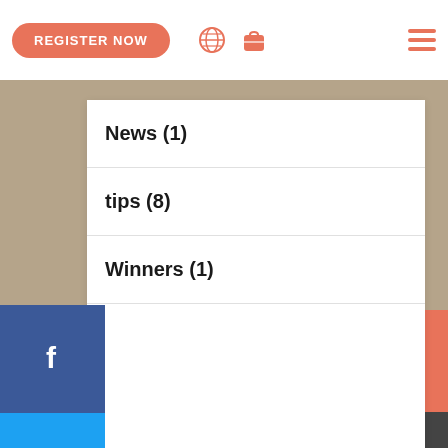REGISTER NOW
News (1)
tips (8)
Winners (1)
[Figure (infographic): Social media icon buttons column: Facebook (blue), Twitter (light blue), Instagram (pink/purple), LinkedIn (blue), YouTube (red)]